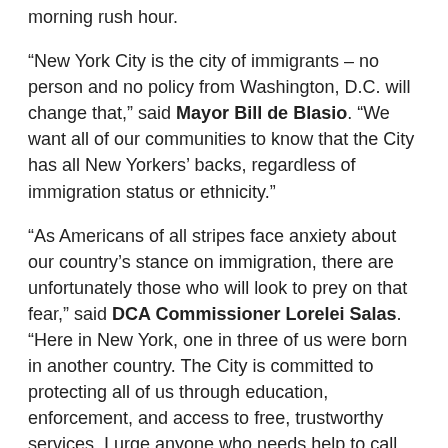morning rush hour.
“New York City is the city of immigrants – no person and no policy from Washington, D.C. will change that,” said Mayor Bill de Blasio. “We want all of our communities to know that the City has all New Yorkers’ backs, regardless of immigration status or ethnicity.”
“As Americans of all stripes face anxiety about our country’s stance on immigration, there are unfortunately those who will look to prey on that fear,” said DCA Commissioner Lorelei Salas. “Here in New York, one in three of us were born in another country. The City is committed to protecting all of us through education, enforcement, and access to free, trustworthy services. I urge anyone who needs help to call 311. Remember – you don’t have to provide your name and the City will never ask about your immigration status.”
“New York City will always fight to protect immigrant New Yorkers,” said Mayor’s Office of Immigrant Affairs Commissioner Nisha Agarwal. “The City has established powerful resources, like ActionNYC, to make